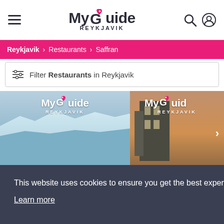MyGuide REYKJAVIK
Reykjavik > Restaurants > Saffran
Filter Restaurants in Reykjavik
[Figure (screenshot): Two card images side by side showing MyGuide Reykjavik branding over an iceberg/landscape photo and a building photo]
This website uses cookies to ensure you get the best experience on our website. Learn more
Got it!
Handpicked by a Local Expert
Handpicked by a Local